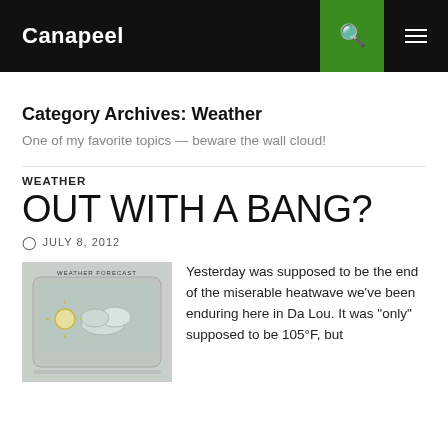Canapeel
Category Archives: Weather
One of my favorite topics — beware the wall cloud!
WEATHER
OUT WITH A BANG?
JULY 8, 2012
[Figure (photo): Weather forecast device showing a screen with sun and cloud icons, labeled WEATHER FORECAST]
Yesterday was supposed to be the end of the miserable heatwave we've been enduring here in Da Lou. It was "only" supposed to be 105°F, but